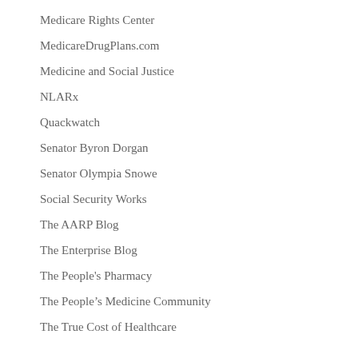Medicare Rights Center
MedicareDrugPlans.com
Medicine and Social Justice
NLARx
Quackwatch
Senator Byron Dorgan
Senator Olympia Snowe
Social Security Works
The AARP Blog
The Enterprise Blog
The People's Pharmacy
The People’s Medicine Community
The True Cost of Healthcare